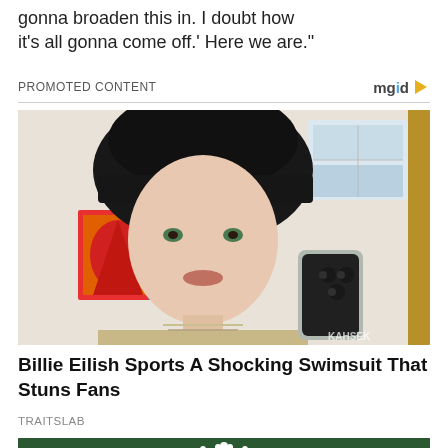gonna broaden this in. I doubt how it's all gonna come off.' Here we are."
PROMOTED CONTENT
[Figure (photo): Mirror selfie of a young woman with dark black shaggy hair and bangs, wearing a plaid shirt and layered necklaces, holding a smartphone. Colorful artwork visible in background. Watermark 'KAHSEK' in bottom right.]
Billie Eilish Sports A Shocking Swimsuit That Stuns Fans
TRAITSLAB
[Figure (photo): Partial view of a woman wearing a tiara/crown against a dark green background, only top of head visible.]